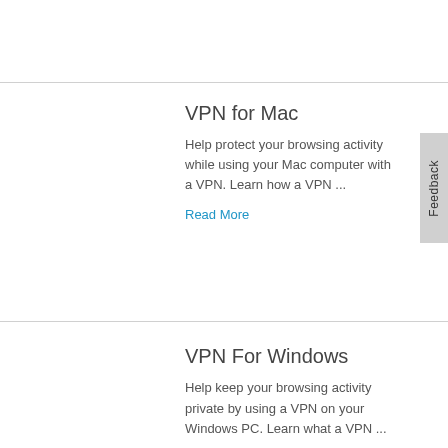VPN for Mac
Help protect your browsing activity while using your Mac computer with a VPN. Learn how a VPN ...
Read More
VPN For Windows
Help keep your browsing activity private by using a VPN on your Windows PC. Learn what a VPN ...